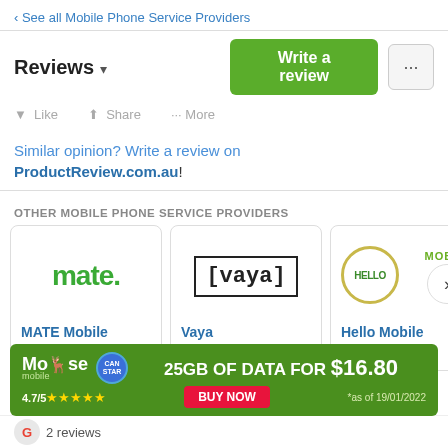‹ See all Mobile Phone Service Providers
Reviews ▾
Write a review
Similar opinion? Write a review on ProductReview.com.au!
OTHER MOBILE PHONE SERVICE PROVIDERS
[Figure (logo): MATE Mobile logo - green text 'mate.' with bold font]
MATE Mobile
★ 4.2/5 (191)
[Figure (logo): Vaya logo - bracketed text [vaya] in monospace font inside a square border]
Vaya
★ 3.9/5 (3,081)
[Figure (logo): Hello Mobile logo with gold ring circle and green MOBILE text]
Hello Mobile
★ 4.1/5 (155
[Figure (infographic): Moose Mobile advertisement banner: 25GB OF DATA FOR $16.80, BUY NOW, 4.7/5 stars, *as of 19/01/2022]
2 reviews